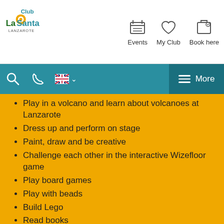[Figure (logo): Club La Santa Lanzarote logo with orange circle and green/yellow text]
Events  My Club  Book here
Search, Phone, UK flag, More navigation bar
Play in a volcano and learn about volcanoes at Lanzarote
Dress up and perform on stage
Paint, draw and be creative
Challenge each other in the interactive Wizefloor game
Play board games
Play with beads
Build Lego
Read books
For booking and more information, please check the Club la Santa app